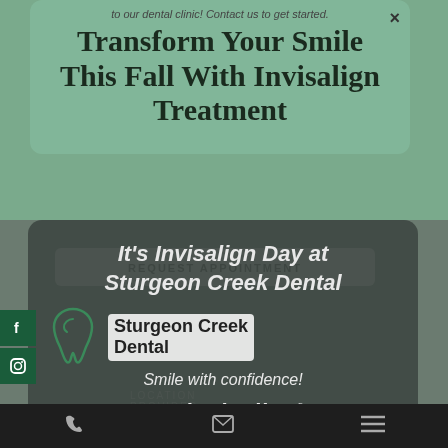to our dental clinic! Contact us to get started.
Transform Your Smile This Fall With Invisalign Treatment
REQUEST APPOINTMENT
It's Invisalign Day at Sturgeon Creek Dental
[Figure (logo): Sturgeon Creek Dental logo with tooth icon and clinic name]
Smile with confidence!
[Figure (logo): Invisalign location provider logo with star/asterisk icon]
LOCATION PROVIDER